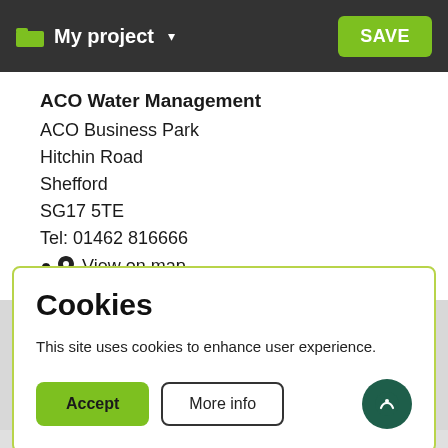My project  SAVE
ACO Water Management
ACO Business Park
Hitchin Road
Shefford
SG17 5TE
Tel: 01462 816666
View on map
Cookies
This site uses cookies to enhance user experience.
Accept  More info